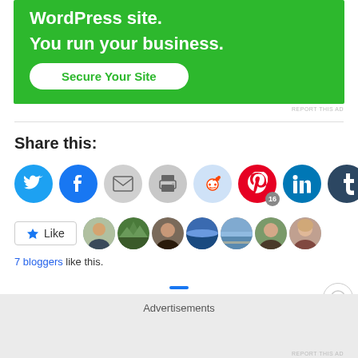[Figure (screenshot): Green advertisement banner with text 'WordPress site. You run your business.' and a 'Secure Your Site' button]
REPORT THIS AD
Share this:
[Figure (infographic): Row of social sharing icon circles: Twitter, Facebook, Email, Print, Reddit, Pinterest (16), LinkedIn, Tumblr]
[Figure (infographic): Like button with star icon and row of 7 blogger avatar photos]
7 bloggers like this.
Advertisements